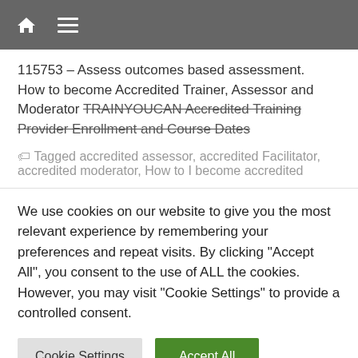Home Menu
115753 – Assess outcomes based assessment. How to become Accredited Trainer, Assessor and Moderator TRAINYOUCAN Accredited Training Provider Enrollment and Course Dates
Tagged accredited assessor, accredited Facilitator, accredited moderator, How to I become accredited
We use cookies on our website to give you the most relevant experience by remembering your preferences and repeat visits. By clicking "Accept All", you consent to the use of ALL the cookies. However, you may visit "Cookie Settings" to provide a controlled consent.
Cookie Settings | Accept All